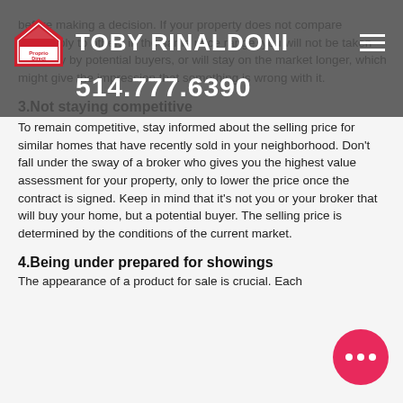TOBY RINALDONI | 514.777.6390
before making a decision. If your property does not compare favourably to others in the same price range, you will not be taken seriously by potential buyers, or will stay on the market longer, which might give the impression that something is wrong with it.
3.Not staying competitive
To remain competitive, stay informed about the selling price for similar homes that have recently sold in your neighborhood. Don't fall under the sway of a broker who gives you the highest value assessment for your property, only to lower the price once the contract is signed. Keep in mind that it's not you or your broker that will buy your home, but a potential buyer. The selling price is determined by the conditions of the current market.
4.Being under prepared for showings
The appearance of a product for sale is crucial. Each